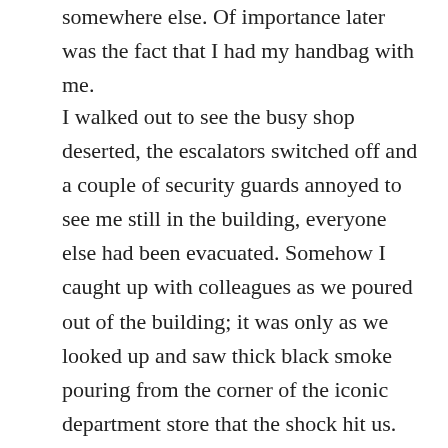somewhere else. Of importance later was the fact that I had my handbag with me.
I walked out to see the busy shop deserted, the escalators switched off and a couple of security guards annoyed to see me still in the building, everyone else had been evacuated. Somehow I caught up with colleagues as we poured out of the building; it was only as we looked up and saw thick black smoke pouring from the corner of the iconic department store that the shock hit us. No one was hurt that day, the heroes were the staff who had noticed something suspicious in their department and evacuated customers safely. Heavy fire doors had contained the explosion. Once again I had had a wide escape. We sat in a nearby pub waiting to go back in and fetch our coats, but nobody would return to work